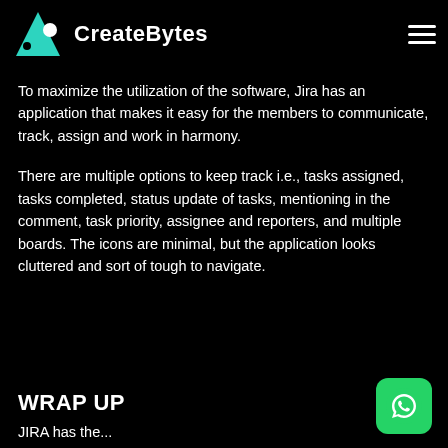CreateBytes
To maximize the utilization of the software, Jira has an application that makes it easy for the members to communicate, track, assign and work in harmony.
There are multiple options to keep track i.e., tasks assigned, tasks completed, status update of tasks, mentioning in the comment, task priority, assignee and reporters, and multiple boards. The icons are minimal, but the application looks cluttered and sort of tough to navigate.
WRAP UP
JIRA has the...